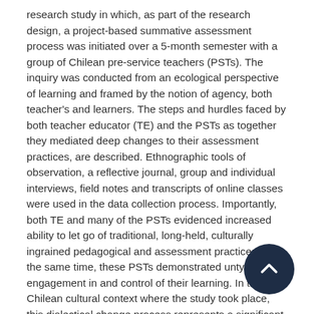research study in which, as part of the research design, a project-based summative assessment process was initiated over a 5-month semester with a group of Chilean pre-service teachers (PSTs). The inquiry was conducted from an ecological perspective of learning and framed by the notion of agency, both teacher's and learners. The steps and hurdles faced by both teacher educator (TE) and the PSTs as together they mediated deep changes to their assessment practices, are described. Ethnographic tools of observation, a reflective journal, group and individual interviews, field notes and transcripts of online classes were used in the data collection process. Importantly, both TE and many of the PSTs evidenced increased ability to let go of traditional, long-held, culturally ingrained pedagogical and assessment practices. At the same time, these PSTs demonstrated untypical engagement in and control of their learning. In the Chilean cultural context where the study took place, this dialectical change process represents a significant shift away from assessing for measurement and high-stakes accountability and towards assessing for learning (AfL) and actionability. We believe the study can offer important insights and hope for other stakeholders in the field of e-learning who are looking for new directions and practices to respond to the many unanswered assessment challenges in the new normal of